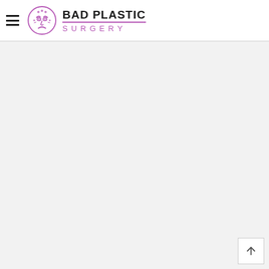Bad Plastic Surgery
[Figure (logo): Bad Plastic Surgery website logo with stylized face icon and text 'BAD PLASTIC SURGERY' in black and purple]
[Figure (other): Back to top arrow button in bottom right corner]